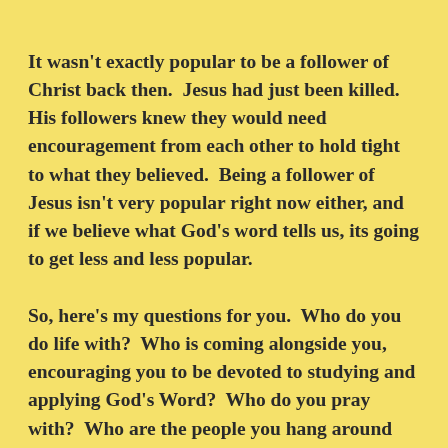It wasn't exactly popular to be a follower of Christ back then.  Jesus had just been killed.  His followers knew they would need encouragement from each other to hold tight to what they believed.  Being a follower of Jesus isn't very popular right now either, and if we believe what God's word tells us, its going to get less and less popular.
So, here's my questions for you.  Who do you do life with?  Who is coming alongside you, encouraging you to be devoted to studying and applying God's Word?  Who do you pray with?  Who are the people you hang around with on a regular basis who are fellow heirs of the inheritance we have in Christ?  We MUST make